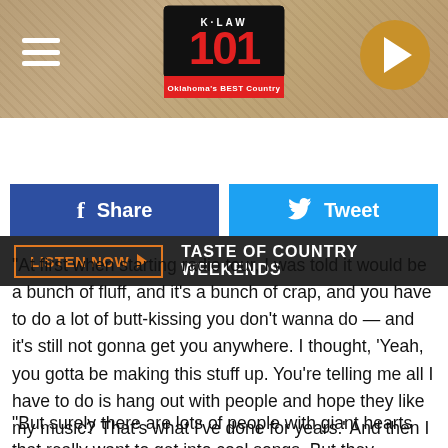[Figure (logo): K-LAW 101 radio station logo with 'Oklahoma's BEST Country' tagline, hamburger menu icon on left, play button on right, on textured tan background]
[Figure (infographic): Dark bar with orange-bordered LISTEN NOW button with play arrow and white text 'TASTE OF COUNTRY WEEKENDS']
[Figure (infographic): Blue Facebook Share button and light blue Twitter Tweet button side by side]
"At first when starting radio tour, I was told it would be a bunch of fluff, and it's a bunch of crap, and you have to do a lot of butt-kissing you don't wanna do — and it's still not gonna get you anywhere. I thought, 'Yeah, you gotta be making this stuff up. You're telling me all I have to do is hang out with people and hope they like my music? That's what I've done for years.' And then I did that and was like, 'Oh man, this is really hard,'" McBryde shares.
"But surely there are lots of people with giant hearts that really want to get into cool songs. But they seriously don't,"